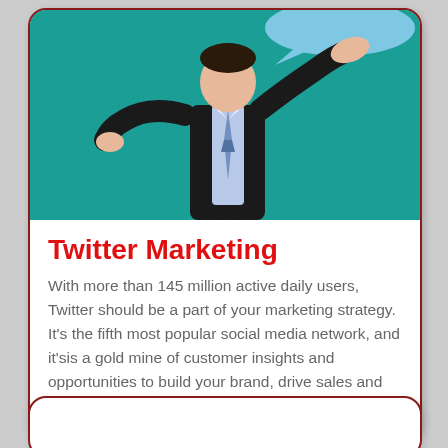[Figure (illustration): Cartoon illustration of a businessman in a black suit with a blue tie, standing on a teal/turquoise background, holding up a blue speech bubble with his right hand raised.]
Twitter Marketing
With more than 145 million active daily users, Twitter should be a part of your marketing strategy. It's the fifth most popular social media network, and it'sis a gold mine of customer insights and opportunities to build your brand, drive sales and win fans.